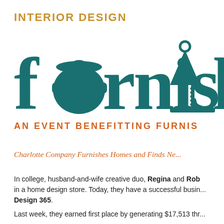INTERIOR DESIGN
[Figure (logo): Furnish logo — large teal serif 'furnish' text with a pot icon replacing the 'o', a lamp icon and knife icon on the right, with red subtitle text 'AN EVENT BENEFITTING FURNIS...']
Charlotte Company Furnishes Homes and Finds Ne...
In college, husband-and-wife creative duo, Regina and Rob... in a home design store. Today, they have a successful busin... Design 365.
Last week, they earned first place by generating $17,513 thr...